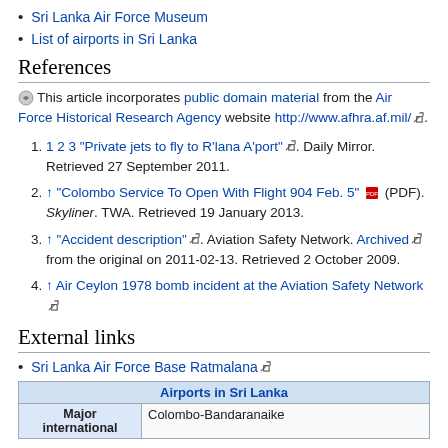Sri Lanka Air Force Museum
List of airports in Sri Lanka
References
This article incorporates public domain material from the Air Force Historical Research Agency website http://www.afhra.af.mil/.
1 2 3 "Private jets to fly to R'lana A'port". Daily Mirror. Retrieved 27 September 2011.
↑ "Colombo Service To Open With Flight 904 Feb. 5" (PDF). Skyliner. TWA. Retrieved 19 January 2013.
↑ "Accident description". Aviation Safety Network. Archived from the original on 2011-02-13. Retrieved 2 October 2009.
↑ Air Ceylon 1978 bomb incident at the Aviation Safety Network
External links
Sri Lanka Air Force Base Ratmalana
| Airports in Sri Lanka |
| --- |
| Major international | Colombo-Bandaranaike |